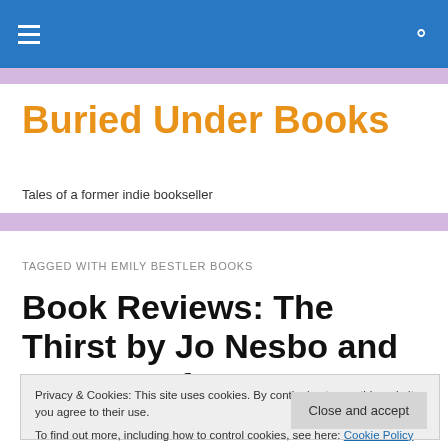Buried Under Books — navigation bar with hamburger menu and search icon
Buried Under Books
Tales of a former indie bookseller
TAGGED WITH EMILY BESTLER BOOKS
Book Reviews: The Thirst by Jo Nesbo and A Game of
Privacy & Cookies: This site uses cookies. By continuing to use this website, you agree to their use.
To find out more, including how to control cookies, see here: Cookie Policy
Close and accept